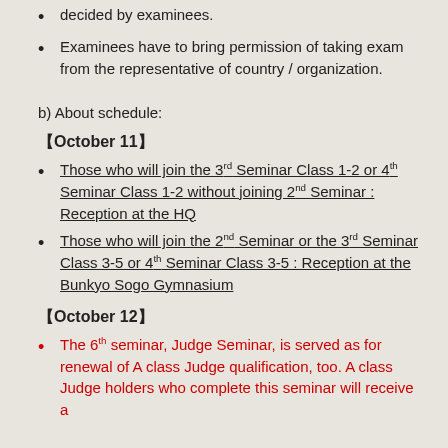decided by examinees.
Examinees have to bring permission of taking exam from the representative of country / organization.
b) About schedule:
【October 11】
Those who will join the 3rd Seminar Class 1-2 or 4th Seminar Class 1-2 without joining 2nd Seminar : Reception at the HQ
Those who will join the 2nd Seminar or the 3rd Seminar Class 3-5 or 4th Seminar Class 3-5 : Reception at the Bunkyo Sogo Gymnasium
【October 12】
The 6th seminar, Judge Seminar, is served as for renewal of A class Judge qualification, too. A class Judge holders who complete this seminar will receive a